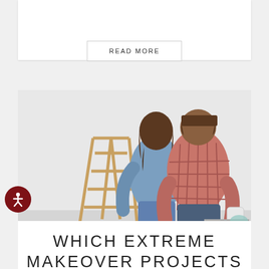READ MORE
[Figure (photo): A couple viewed from behind standing in a room under renovation. The woman wears a blue denim shirt, the man wears a red plaid shirt and holds a paint roller. A wooden stepladder is visible on the left.]
WHICH EXTREME MAKEOVER PROJECTS